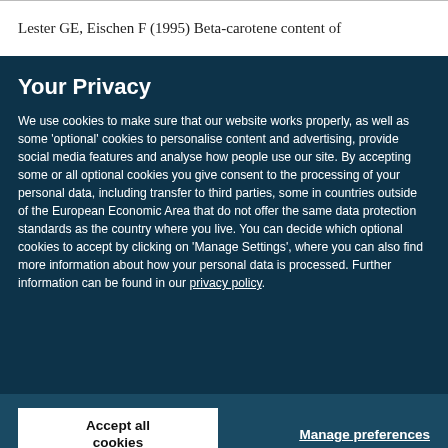Lester GE, Eischen F (1995) Beta-carotene content of
Your Privacy
We use cookies to make sure that our website works properly, as well as some ‘optional’ cookies to personalise content and advertising, provide social media features and analyse how people use our site. By accepting some or all optional cookies you give consent to the processing of your personal data, including transfer to third parties, some in countries outside of the European Economic Area that do not offer the same data protection standards as the country where you live. You can decide which optional cookies to accept by clicking on ‘Manage Settings’, where you can also find more information about how your personal data is processed. Further information can be found in our privacy policy.
Accept all cookies
Manage preferences